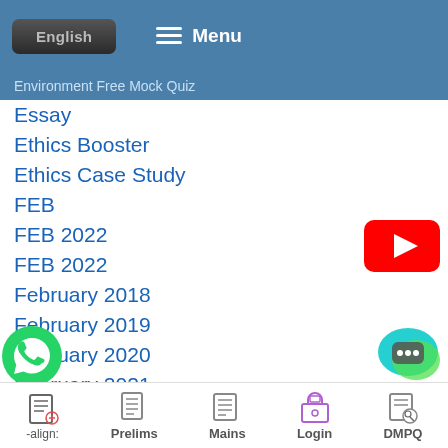English  ≡ Menu
Environment Free Mock Quiz
Essay
Ethics Booster
Ethics Case Study
FEB
FEB 2022
FEB 2022
February 2018
February 2019
February 2020
February 2021
General English
[Figure (logo): YouTube play button red badge]
[Figure (logo): WhatsApp green phone icon]
[Figure (logo): Chat bubble icon]
-align:   Prelims   Mains   Login   DMPQ